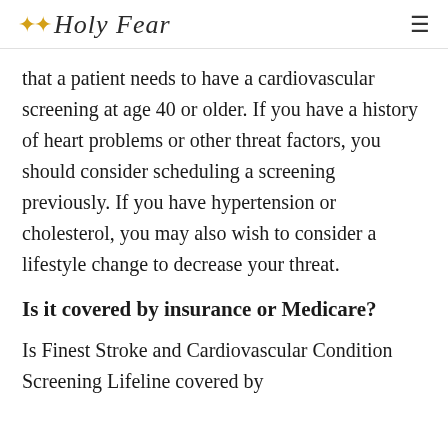✦✦ Holy Fear  ≡
that a patient needs to have a cardiovascular screening at age 40 or older. If you have a history of heart problems or other threat factors, you should consider scheduling a screening previously. If you have hypertension or cholesterol, you may also wish to consider a lifestyle change to decrease your threat.
Is it covered by insurance or Medicare?
Is Finest Stroke and Cardiovascular Condition Screening Lifeline covered by